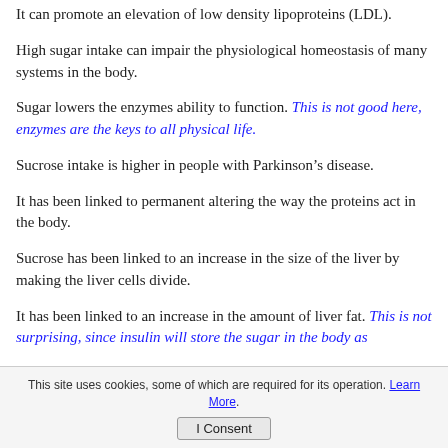It can promote an elevation of low density lipoproteins (LDL).
High sugar intake can impair the physiological homeostasis of many systems in the body.
Sugar lowers the enzymes ability to function. This is not good here, enzymes are the keys to all physical life.
Sucrose intake is higher in people with Parkinson’s disease.
It has been linked to permanent altering the way the proteins act in the body.
Sucrose has been linked to an increase in the size of the liver by making the liver cells divide.
It has been linked to an increase in the amount of liver fat. This is not surprising, since insulin will store the sugar in the body as
This site uses cookies, some of which are required for its operation. Learn More. I Consent